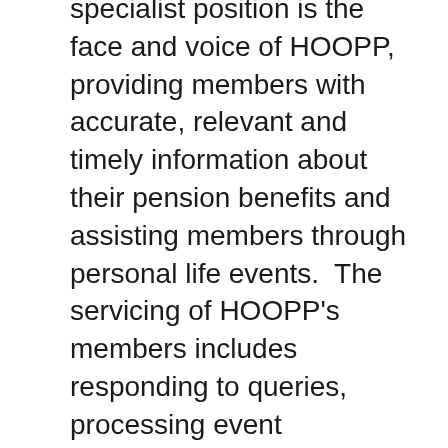specialist position is the face and voice of HOOPP, providing members with accurate, relevant and timely information about their pension benefits and assisting members through personal life events.  The servicing of HOOPP's members includes responding to queries, processing event transactions and following up on expected or outstanding member related information. Responsibilities also include actively monitoring the phone and work queues, and ensure incoming phone calls and work are addressed in a timely manner.
Advisor
The core purpose of the Advisor, Internal Communications is to support HOOPP's members...